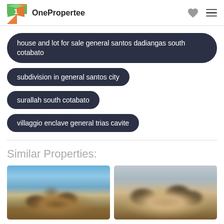OnePropertee
house and lot for sale general santos dadiangas south cotabato
subdivision in general santos city
surallah south cotabato
villaggio enclave general trias cavite
Similar Properties:
[Figure (photo): Blurred exterior photo of a house with blue sky background]
[Figure (photo): Blurred exterior photo of a house with neutral background]